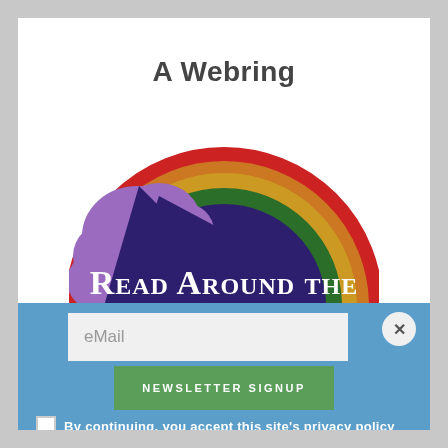A Webring
[Figure (illustration): Semicircular rainbow logo with purple cloud/umbrella shape on the left and rainbow arc stripes (red, orange, yellow, green). White bold serif text reads 'READ AROUND THE' across the lower portion of the circle.]
eMail
NEWSLETTER SIGNUP
By continuing, you accept this site's privacy policy